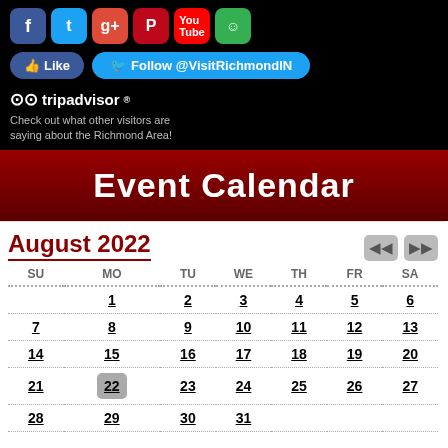[Figure (screenshot): Social media icons: Facebook, Twitter, Google+, Pinterest, YouTube, TripAdvisor]
[Figure (screenshot): Social media buttons: Facebook Like and Twitter Follow @VisitRichmondIN]
[Figure (screenshot): TripAdvisor logo with text: Check out what other visitors are saying about the Richmond Area!]
Event Calendar
August 2022
| SU | MO | TU | WE | TH | FR | SA |
| --- | --- | --- | --- | --- | --- | --- |
|  | 1 | 2 | 3 | 4 | 5 | 6 |
| 7 | 8 | 9 | 10 | 11 | 12 | 13 |
| 14 | 15 | 16 | 17 | 18 | 19 | 20 |
| 21 | 22 | 23 | 24 | 25 | 26 | 27 |
| 28 | 29 | 30 | 31 |  |  |  |